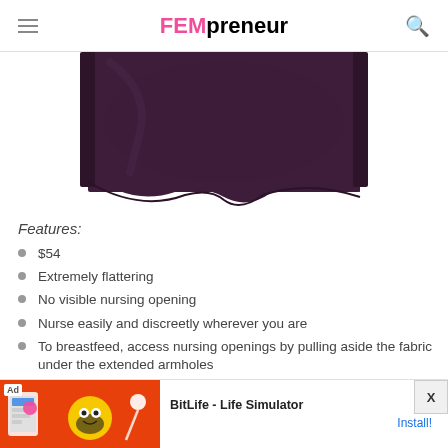FEMpreneur
[Figure (photo): Bottom portion of a dark purple/plum nursing top garment shown against a white background]
Features:
$54
Extremely flattering
No visible nursing opening
Nurse easily and discreetly wherever you are
To breastfeed, access nursing openings by pulling aside the fabric under the extended armholes
Approximately 37" long from shoulder to hem
Super soft fabric is 90% rayon, 10% spandex
[Figure (screenshot): Advertisement banner for BitLife - Life Simulator app with Install button]